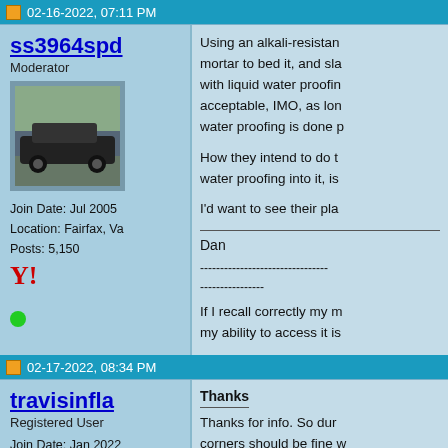02-16-2022, 07:11 PM (partial)
ss3964spd
Moderator
Join Date: Jul 2005
Location: Fairfax, Va
Posts: 5,150
Using an alkali-resistant mortar to bed it, and slabbing with liquid water proofing is acceptable, IMO, as long as the water proofing is done properly.

How they intend to do the water proofing into it, is...

I'd want to see their pla...

Dan
----------------------------------------

If I recall correctly my m... my ability to access it is...
02-17-2022, 08:34 PM
travisinfla
Registered User
Join Date: Jan 2022
Location: Venice, Florida
Posts: 58
Thanks
Thanks for info. So dur... corners should be fine w... and thinset bed to mort... over top .

They (probably) won't w... floo...